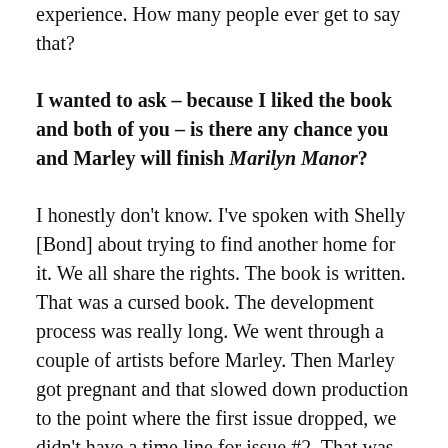experience. How many people ever get to say that?
I wanted to ask – because I liked the book and both of you – is there any chance you and Marley will finish Marilyn Manor?
I honestly don't know. I've spoken with Shelly [Bond] about trying to find another home for it. We all share the rights. The book is written. That was a cursed book. The development process was really long. We went through a couple of artists before Marley. Then Marley got pregnant and that slowed down production to the point where the first issue dropped, we didn't have a time line for issue #2. That was when they were like, this isn't worth it, and